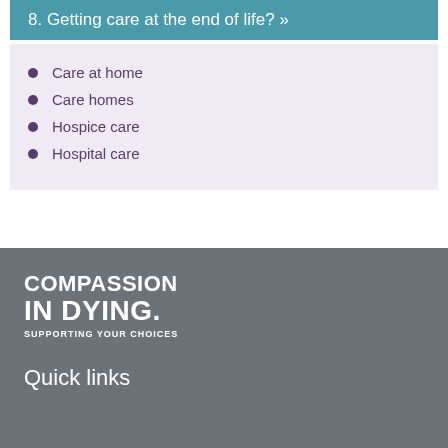8. Getting care at the end of life? »
Care at home
Care homes
Hospice care
Hospital care
COMPASSION IN DYING. SUPPORTING YOUR CHOICES
Quick links